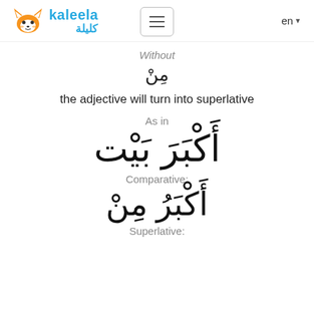kaleela / كليلة — navigation header with hamburger menu and en language selector
Without
مِنْ
the adjective will turn into superlative
As in
أَكْبَرَ بَيْت
Comparative:
أَكْبَرُ مِنْ
Superlative: